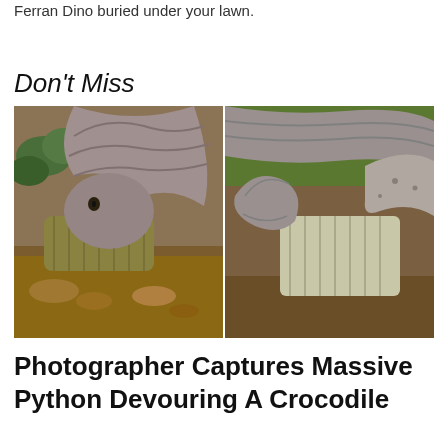Ferran Dino buried under your lawn.
Don't Miss
[Figure (photo): Two side-by-side photos of a large python constricting and devouring a crocodile outdoors on rocky/dirt ground with vegetation in background.]
Photographer Captures Massive Python Devouring A Crocodile